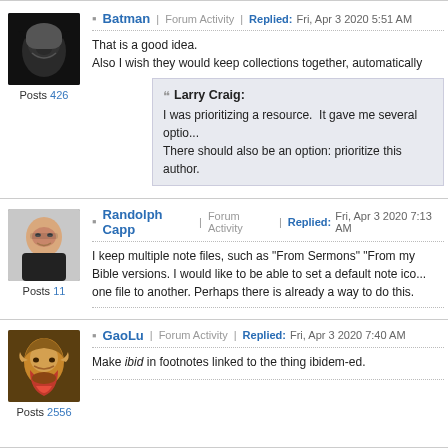[Figure (photo): Batman avatar image - dark superhero in mask]
Posts 426
Batman | Forum Activity | Replied: Fri, Apr 3 2020 5:51 AM
That is a good idea. Also I wish they would keep collections together, automatically
Larry Craig: I was prioritizing a resource.  It gave me several optio... There should also be an option: prioritize this author.
[Figure (photo): Randolph Capp avatar - middle-aged man with glasses]
Posts 11
Randolph Capp | Forum Activity | Replied: Fri, Apr 3 2020 7:13 AM
I keep multiple note files, such as "From Sermons" "From my Bible versions. I would like to be able to set a default note ico... one file to another. Perhaps there is already a way to do this.
[Figure (photo): GaoLu avatar - painting of an old bearded figure in colorful robes]
Posts 2556
GaoLu | Forum Activity | Replied: Fri, Apr 3 2020 7:40 AM
Make ibid in footnotes linked to the thing ibidem-ed.